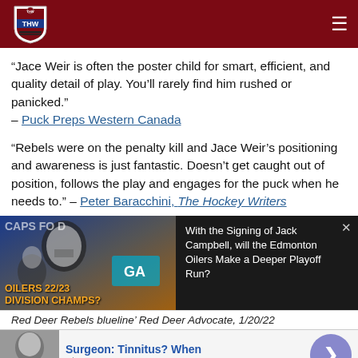THW - The Hockey Writers
“Jace Weir is often the poster child for smart, efficient, and quality detail of play. You’ll rarely find him rushed or panicked.” – Puck Preps Western Canada
“Rebels were on the penalty kill and Jace Weir’s positioning and awareness is just fantastic. Doesn’t get caught out of position, follows the play and engages for the puck when he needs to.” – Peter Baracchini, The Hockey Writers
[Figure (screenshot): Video thumbnail and info panel showing Oilers 22/23 Division Champs? video with title: With the Signing of Jack Campbell, will the Edmonton Oilers Make a Deeper Playoff Run?]
Red Deer Rebels blueline' Red Deer Advocate, 1/20/22
[Figure (infographic): Ad banner: Surgeon: Tinnitus? When, n/a, with arrow button]